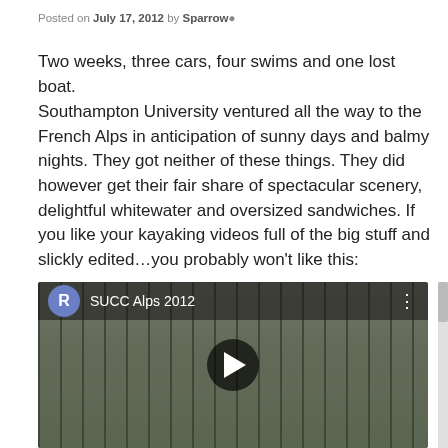Posted on July 17, 2012 by Sparrow
Two weeks, three cars, four swims and one lost boat.
Southampton University ventured all the way to the French Alps in anticipation of sunny days and balmy nights. They got neither of these things. They did however get their fair share of spectacular scenery, delightful whitewater and oversized sandwiches. If you like your kayaking videos full of the big stuff and slickly edited...you probably won't like this:
[Figure (screenshot): Embedded YouTube video thumbnail showing 'SUCC Alps 2012' with a forest/outdoor scene, play button in center, avatar 'R' icon and channel name in top bar]